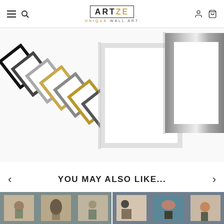ARTZE UNIQUE WALL ART
[Figure (photo): Multiple picture frames of various styles fanned out showing black, white, grey, gold, and silver frame options against a white background]
YOU MAY ALSO LIKE...
[Figure (photo): Two product card thumbnails showing sets of three framed botanical/abstract wall art prints in boho style]
[Figure (photo): Two product card thumbnails showing sets of three framed abstract wall art prints with teal and earth tones]